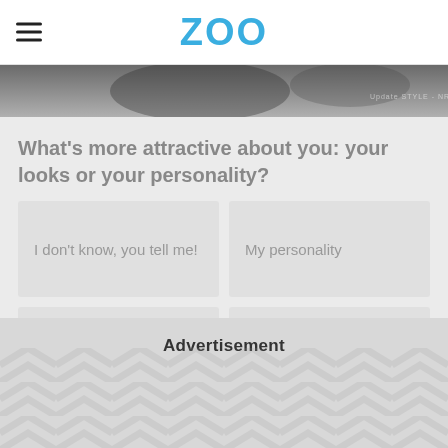ZOO
[Figure (photo): Dark grayscale photo strip banner image]
What's more attractive about you: your looks or your personality?
I don't know, you tell me!
My personality
My looks
Both
Advertisement